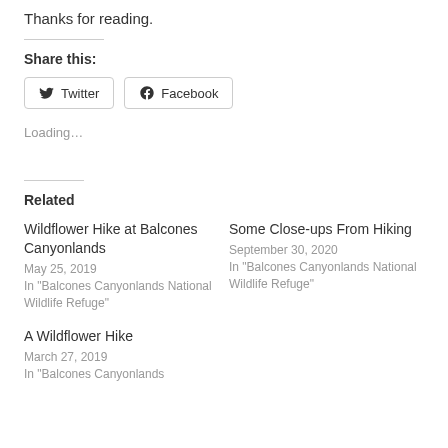Thanks for reading.
Share this:
Twitter | Facebook (share buttons)
Loading…
Related
Wildflower Hike at Balcones Canyonlands
May 25, 2019
In "Balcones Canyonlands National Wildlife Refuge"
Some Close-ups From Hiking
September 30, 2020
In "Balcones Canyonlands National Wildlife Refuge"
A Wildflower Hike
March 27, 2019
In "Balcones Canyonlands